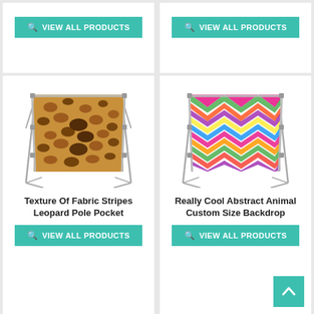[Figure (screenshot): Top-left product card showing VIEW ALL PRODUCTS button (teal) — partial card at top]
[Figure (screenshot): Top-right product card showing VIEW ALL PRODUCTS button (teal) — partial card at top]
[Figure (photo): Leopard print fabric backdrop on metal stand/frame]
Texture Of Fabric Stripes Leopard Pole Pocket
VIEW ALL PRODUCTS
[Figure (photo): Colorful abstract chevron/zigzag pattern backdrop on metal stand/frame]
Really Cool Abstract Animal Custom Size Backdrop
VIEW ALL PRODUCTS
[Figure (screenshot): Bottom-left partial card]
[Figure (screenshot): Bottom-right partial card]